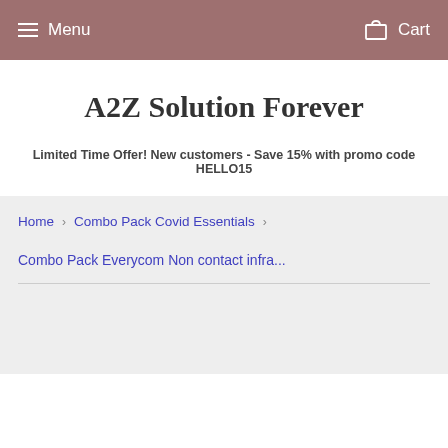Menu  Cart
A2Z Solution Forever
Limited Time Offer! New customers - Save 15% with promo code HELLO15
Home › Combo Pack Covid Essentials ›
Combo Pack Everycom Non contact infra...